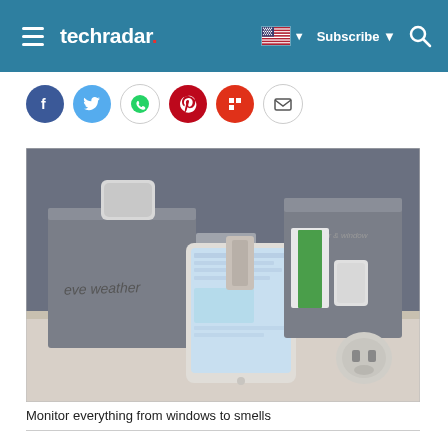techradar | Subscribe | Search
[Figure (screenshot): TechRadar website header with hamburger menu, logo, flag icon, subscribe button, and search icon on a teal/steel blue background]
[Figure (photo): Eve smart home product lineup on a white table: eve weather box, eve door & window box, an iPad showing an app, a smart plug, and other accessories]
Monitor everything from windows to smells